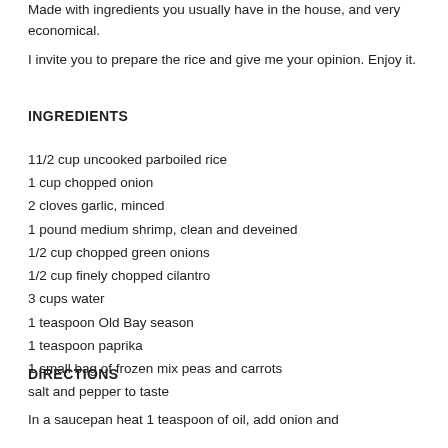Made with ingredients you usually have in the house, and very economical.
I invite you to prepare the rice and give me your opinion. Enjoy it.
INGREDIENTS
11/2 cup uncooked parboiled rice
1 cup chopped onion
2 cloves garlic, minced
1 pound medium shrimp, clean and deveined
1/2 cup chopped green onions
1/2 cup finely chopped cilantro
3 cups water
1 teaspoon Old Bay season
1 teaspoon paprika
1 small bag of frozen mix peas and carrots
salt and pepper to taste
DIRECTIONS
In a saucepan heat 1 teaspoon of oil, add onion and